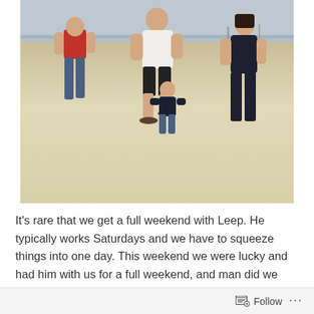[Figure (photo): A family walking on a sandy beach viewed from behind. On the left is a person in a red shirt and jeans, in the center is a taller person in a white shirt and black shorts wearing flip flops, to the right is a person in a dark outfit, and in the middle foreground is a small toddler in a dark top and jeans. The background shows a grey sky and distant shoreline.]
It's rare that we get a full weekend with Leep. He typically works Saturdays and we have to squeeze things into one day. This weekend we were lucky and had him with us for a full weekend, and man did we make the most of it! Join us for a weekend in the life of the Malmy's!
This weekend Spring showed it's lovely self and it was a